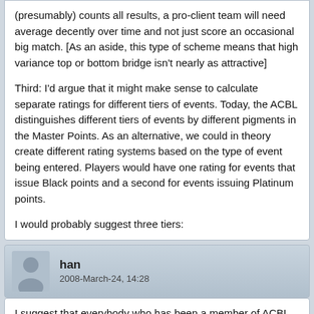(presumably) counts all results, a pro-client team will need average decently over time and not just score an occasional big match. [As an aside, this type of scheme means that high variance top or bottom bridge isn't nearly as attractive]
Third: I'd argue that it might make sense to calculate separate ratings for different tiers of events. Today, the ACBL distinguishes different tiers of events by different pigments in the Master Points. As an alternative, we could in theory create different rating systems based on the type of event being entered. Players would have one rating for events that issue Black points and a second for events issuing Platinum points.
I would probably suggest three tiers:
han
2008-March-24, 14:28
I suggest that everybody who has been a member of ACBL for 5 years and played regularly (100 games total but I'm open to negotiation) should be rewarded a life mastership. It seems only fair.